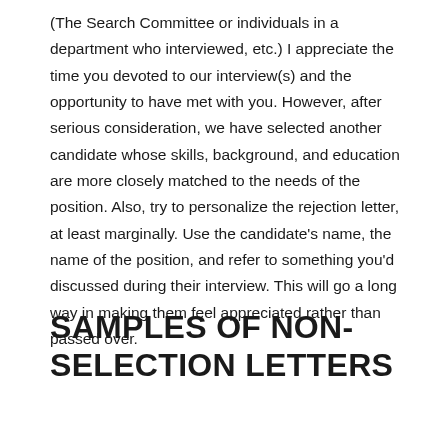(The Search Committee or individuals in a department who interviewed, etc.) I appreciate the time you devoted to our interview(s) and the opportunity to have met with you. However, after serious consideration, we have selected another candidate whose skills, background, and education are more closely matched to the needs of the position. Also, try to personalize the rejection letter, at least marginally. Use the candidate's name, the name of the position, and refer to something you'd discussed during their interview. This will go a long way in making them feel appreciated rather than passed over.
SAMPLES OF NON-SELECTION LETTERS